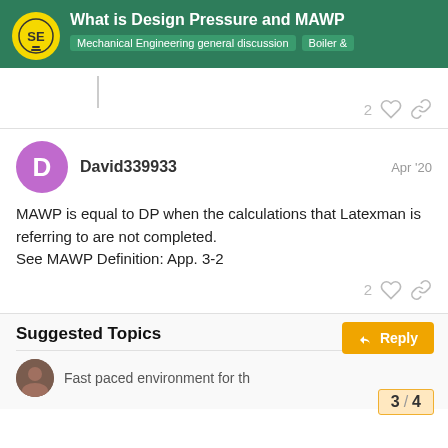What is Design Pressure and MAWP | Mechanical Engineering general discussion | Boiler &
MAWP is equal to DP when the calculations that Latexman is referring to are not completed.
See MAWP Definition: App. 3-2
Suggested Topics
Fast paced environment for th